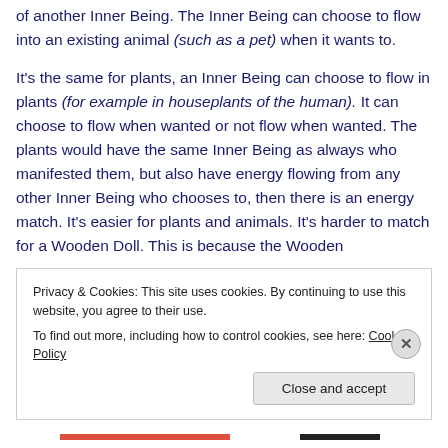of another Inner Being. The Inner Being can choose to flow into an existing animal (such as a pet) when it wants to.

It's the same for plants, an Inner Being can choose to flow in plants (for example in houseplants of the human). It can choose to flow when wanted or not flow when wanted. The plants would have the same Inner Being as always who manifested them, but also have energy flowing from any other Inner Being who chooses to, then there is an energy match. It's easier for plants and animals. It's harder to match for a Wooden Doll. This is because the Wooden
Privacy & Cookies: This site uses cookies. By continuing to use this website, you agree to their use.
To find out more, including how to control cookies, see here: Cookie Policy
Close and accept